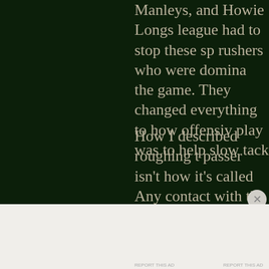Manleys, and Howie Longs league had to stop these sp rushers who were domina the game. They changed everything to how offensiv play was to help slow tack
How I described roughing t passer isn't how it's called Any contact with the helm whether inadvertent or no results in a 15 yard penalty the defense.
Advertisements